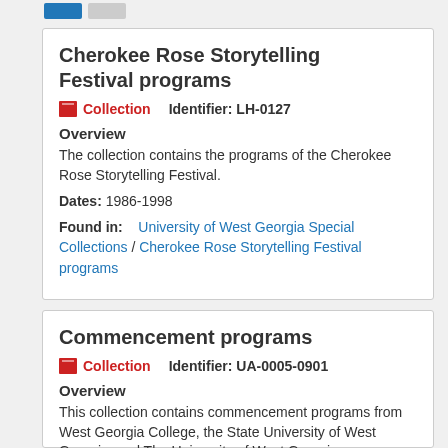Cherokee Rose Storytelling Festival programs
Collection   Identifier: LH-0127
Overview
The collection contains the programs of the Cherokee Rose Storytelling Festival.
Dates: 1986-1998
Found in:   University of West Georgia Special Collections / Cherokee Rose Storytelling Festival programs
Commencement programs
Collection   Identifier: UA-0005-0901
Overview
This collection contains commencement programs from West Georgia College, the State University of West Georgia, and The University of West Georgia